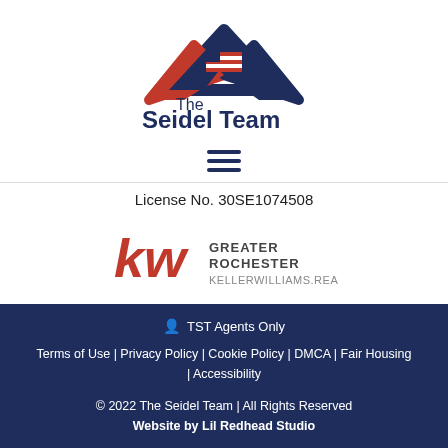[Figure (logo): The Seidel Team logo with red and navy house roof icon and American flag, text 'The Seidel Team' in navy bold font]
[Figure (other): Hamburger menu icon with three horizontal lines]
License No. 30SE1074508
[Figure (logo): Keller Williams Greater Rochester realty logo with red 'kw' letters and text 'GREATER ROCHESTER KELLERWILLIAMS.REALTY']
TST Agents Only
Terms of Use | Privacy Policy | Cookie Policy | DMCA | Fair Housing | Accessibility
© 2022 The Seidel Team | All Rights Reserved
Website by Lil Redhead Studio